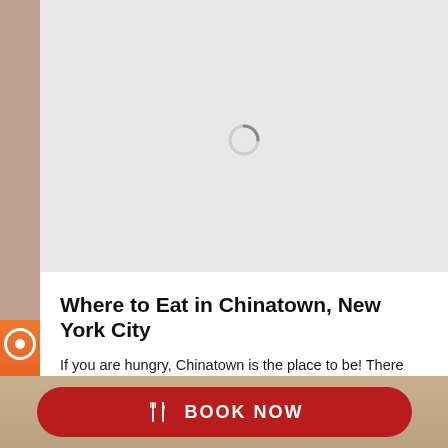[Figure (screenshot): Gray loading area at top with a spinning loading indicator circle in the center. Background shows a blurred food/restaurant photo on left and right edges.]
Where to Eat in Chinatown, New York City
If you are hungry, Chinatown is the place to be! There are so many amazing food options here and we are happy to help you narrow it down. Here is our list on where to eat in Chinatown, New York City. These are our favorite restaurants, bakeries, take out spots and more. Mott Street Eatery…
Read More »
January 31, 2022
BOOK NOW